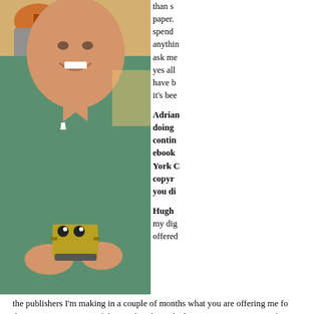[Figure (photo): A smiling man in a green v-neck t-shirt wearing a conference lanyard, holding a small WALL-E toy robot figure. Background shows a store or convention setting.]
than s... paper. spend anythin ask me yes all have b it's bee
Adrian doing contin ebook York C copyr you di
Hugh my dig offered
the publishers I'm making in a couple of months what you are offering me fo... that many extra copies of this work or have the long-term interest to justify s... make all these books that I own free and use that to generate more interest i... publisher to make my work free. What I saw really early on was how these b...